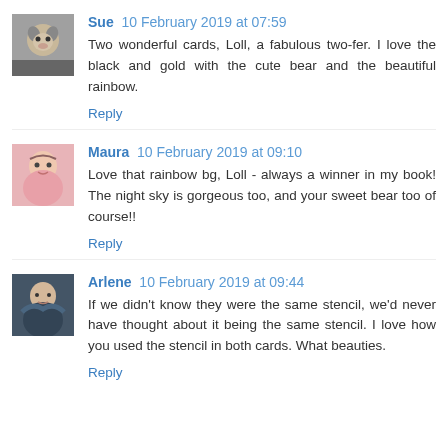[Figure (photo): Avatar photo of Sue, showing a dog/cat]
Sue  10 February 2019 at 07:59
Two wonderful cards, Loll, a fabulous two-fer. I love the black and gold with the cute bear and the beautiful rainbow.
Reply
[Figure (photo): Avatar photo of Maura, woman in pink top]
Maura  10 February 2019 at 09:10
Love that rainbow bg, Loll - always a winner in my book! The night sky is gorgeous too, and your sweet bear too of course!!
Reply
[Figure (photo): Avatar photo of Arlene, person with scarf]
Arlene  10 February 2019 at 09:44
If we didn't know they were the same stencil, we'd never have thought about it being the same stencil. I love how you used the stencil in both cards. What beauties.
Reply